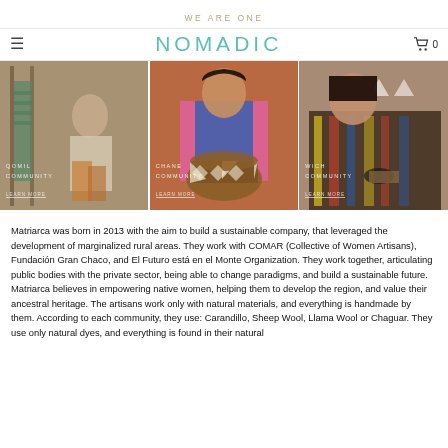WE ARE ONE
NOMADIC   0
[Figure (photo): Three side-by-side photos of indigenous artisan women weaving and crafting. Left: woman at a loom, center: woman holding a woven basket, right: woman doing detailed handwork. Each photo has community name and 'LEARN MORE' overlay text.]
Matriarca was born in 2013 with the aim to build a sustainable company, that leveraged the development of marginalized rural areas. They work with COMAR (Collective of Women Artisans), Fundación Gran Chaco, and El Futuro está en el Monte Organization. They work together, articulating public bodies with the private sector, being able to change paradigms, and build a sustainable future. Matriarca believes in empowering native women, helping them to develop the region, and value their ancestral heritage. The artisans work only with natural materials, and everything is handmade by them. According to each community, they use: Carandillo, Sheep Wool, Llama Wool or Chaguar. They use only natural dyes, and everything is found in their natural